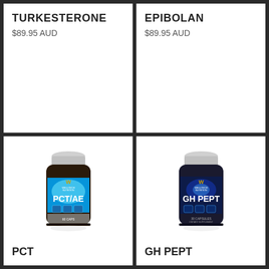TURKESTERONE
$89.95 AUD
EPIBOLAN
$89.95 AUD
[Figure (photo): Welltech Nutrition PCT/AE supplement bottle with blue and white label]
PCT
[Figure (photo): Welltech Nutrition GH PEPT supplement bottle with dark blue label]
GH PEPT